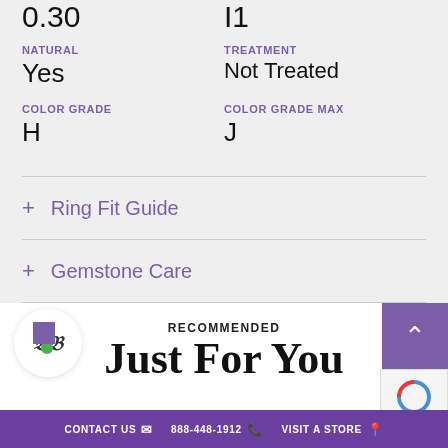0.30
I1
NATURAL
Yes
TREATMENT
Not Treated
COLOR GRADE
H
COLOR GRADE MAX
J
+ Ring Fit Guide
+ Gemstone Care
RECOMMENDED
Just For You
CONTACT US   888-448-1912   VISIT A STORE